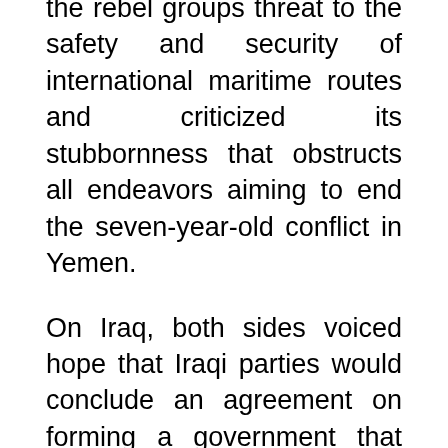the rebel groups threat to the safety and security of international maritime routes and criticized its stubbornness that obstructs all endeavors aiming to end the seven-year-old conflict in Yemen.
On Iraq, both sides voiced hope that Iraqi parties would conclude an agreement on forming a government that can realize the aspirations of the Iraqi people to achieve security, stability, development and combat terrorist organizations, according to the final communiqué.
As for Sudan, the two countries reaffirmed